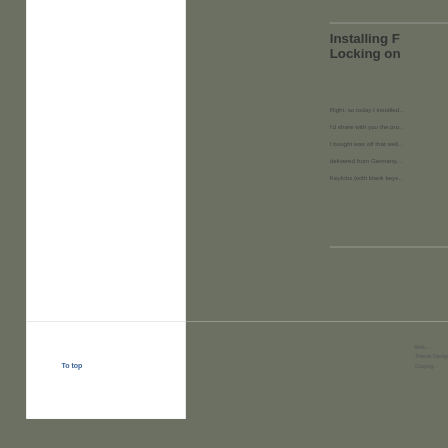Installing F... Locking on...
Right, so today I installed...
I'd share with you the pro...
I bought was off that well...
delivered from Germany,...
Keyfobs (with blank keys...
To top | Web... | Theme Design by... | Copyrig...